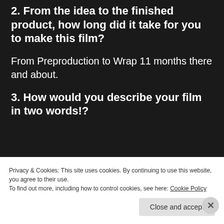2. From the idea to the finished product, how long did it take for you to make this film?
From Preproduction to Wrap 11 months there and about.
3. How would you describe your film in two words!?
Privacy & Cookies: This site uses cookies. By continuing to use this website, you agree to their use. To find out more, including how to control cookies, see here: Cookie Policy